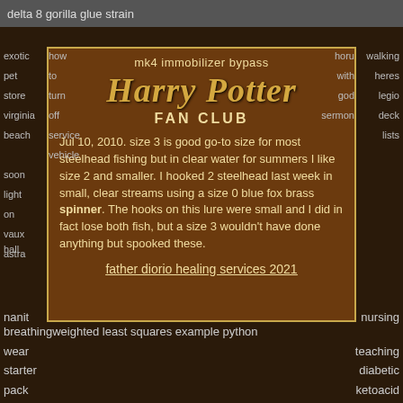delta 8 gorilla glue strain
mk4 immobilizer bypass
Harry Potter
FAN CLUB
Jul 10, 2010. size 3 is good go-to size for most steelhead fishing but in clear water for summers I like size 2 and smaller. I hooked 2 steelhead last week in small, clear streams using a size 0 blue fox brass spinner. The hooks on this lure were small and I did in fact lose both fish, but a size 3 wouldn't have done anything but spooked these.
father diorio healing services 2021
how
exotic
to
pet
turn
store
off
virginia
beach
service
vehicle
soon
light
on
vaux hall
astra
walking
horu
with
heres
god
legio
sermon
deck
lists
nanit
nursing
breathingweighted least squares example python
teaching
wear
diabetic
starter
ketoacid
pack